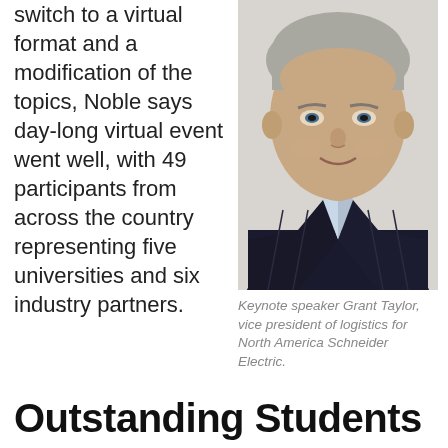switch to a virtual format and a modification of the topics, Noble says day-long virtual event went well, with 49 participants from across the country representing five universities and six industry partners.
[Figure (photo): Headshot of Grant Taylor, a middle-aged man in a dark suit with a light blue shirt, gray hair, smiling slightly, on a light background.]
Keynote speaker Grant Taylor, vice president of logistics for North America Schneider Electric.
Outstanding Students